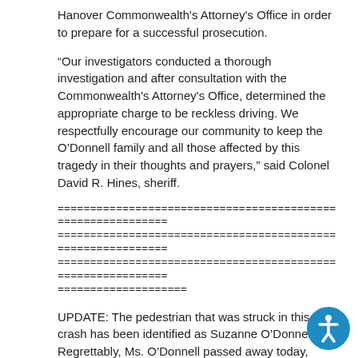Hanover Commonwealth's Attorney's Office in order to prepare for a successful prosecution.
“Our investigators conducted a thorough investigation and after consultation with the Commonwealth's Attorney's Office, determined the appropriate charge to be reckless driving. We respectfully encourage our community to keep the O’Donnell family and all those affected by this tragedy in their thoughts and prayers,” said Colonel David R. Hines, sheriff.
============================================================
============================================================
============================================================
====================
UPDATE: The pedestrian that was struck in this crash has been identified as Suzanne O’Donnell. Regrettably, Ms. O’Donnell passed away today, Wednesday, March 7, 2018, as a result of the injuries she sustained from this crash.
Investigators are still collecting information to determine circumstances that led to this tragic incident.